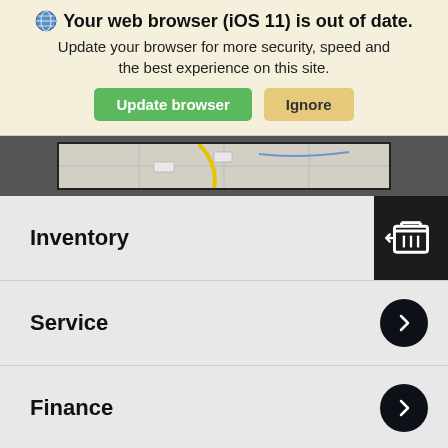Your web browser (iOS 11) is out of date. Update your browser for more security, speed and the best experience on this site.
[Figure (screenshot): Browser update banner with globe icon, bold warning text, green Update browser button and tan Ignore button]
[Figure (screenshot): Map strip showing partial road map view in dark frame]
Inventory
Service
Finance
Specials